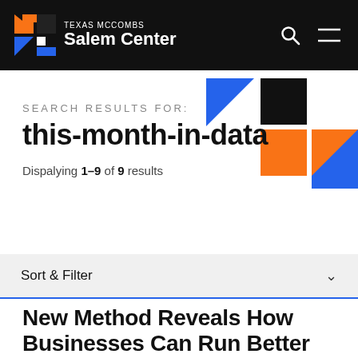TEXAS McCOMBS Salem Center
[Figure (illustration): Geometric decorative pattern with blue, orange, black and white square/triangle shapes in top-right corner]
SEARCH RESULTS FOR:
this-month-in-data
Dispalying 1–9 of 9 results
Sort & Filter
New Method Reveals How Businesses Can Run Better